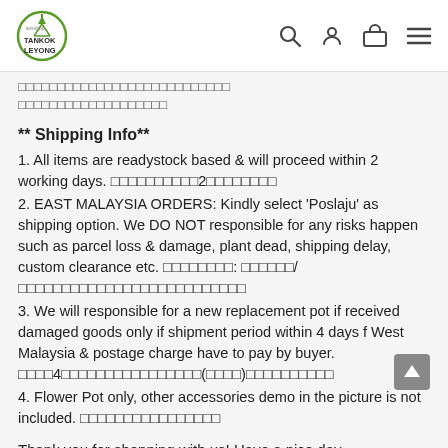Tankok Leyong | letsshop
□□□□□□□□□□□□□□□□□□□□□□□□□□□ □□□□□□□□□□□□□□□□□□□
** Shipping Info**
1. All items are readystock based & will proceed within 2 working days. □□□□□□□□□□2□□□□□□□□
2. EAST MALAYSIA ORDERS: Kindly select 'Poslaju' as shipping option. We DO NOT responsible for any risks happen such as parcel loss & damage, plant dead, shipping delay, custom clearance etc. □□□□□□□□: □□□□□□/□□□□□□□□□□□□□□□□□□□□□□□□□□
3. We will responsible for a new replacement pot if received damaged goods only if shipment period within 4 days f West Malaysia & postage charge have to pay by buyer. □□□□4□□□□□□□□□□□□□□□□(□□□□)□□□□□□□□□□
4. Flower Pot only, other accessories demo in the picture is not included. □□□□□□□□□□□□□□□□
Thank you for shopping with us! Have a nice day.
• Contact us •